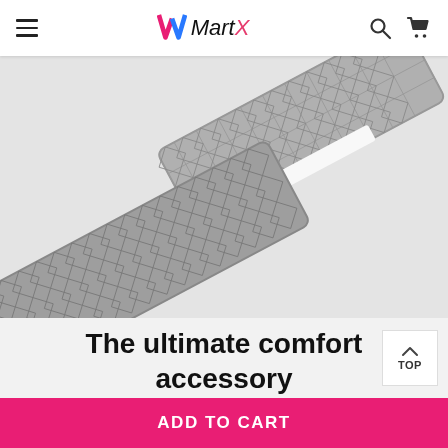MartX navigation header with hamburger menu, logo, search and cart icons
[Figure (photo): Two gray quilted/padded car seat belt comfort pads arranged diagonally on a light gray background]
The ultimate comfort accessory
Introduce texture and softness into your vehicle's
ADD TO CART